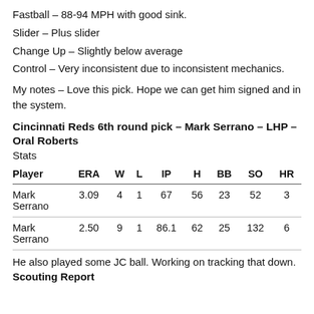Fastball – 88-94 MPH with good sink.
Slider – Plus slider
Change Up – Slightly below average
Control – Very inconsistent due to inconsistent mechanics.
My notes – Love this pick. Hope we can get him signed and in the system.
Cincinnati Reds 6th round pick – Mark Serrano – LHP – Oral Roberts
Stats
| Player | ERA | W | L | IP | H | BB | SO | HR |
| --- | --- | --- | --- | --- | --- | --- | --- | --- |
| Mark Serrano | 3.09 | 4 | 1 | 67 | 56 | 23 | 52 | 3 |
| Mark Serrano | 2.50 | 9 | 1 | 86.1 | 62 | 25 | 132 | 6 |
He also played some JC ball. Working on tracking that down.
Scouting Report